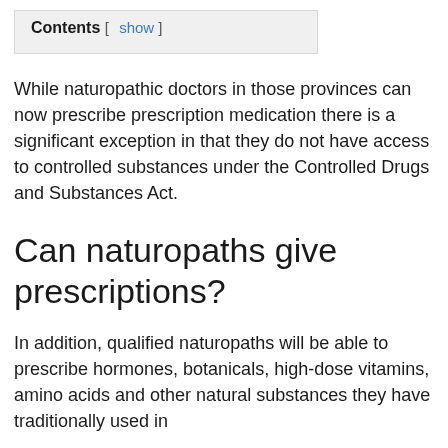Contents [ show ]
While naturopathic doctors in those provinces can now prescribe prescription medication there is a significant exception in that they do not have access to controlled substances under the Controlled Drugs and Substances Act.
Can naturopaths give prescriptions?
In addition, qualified naturopaths will be able to prescribe hormones, botanicals, high-dose vitamins, amino acids and other natural substances they have traditionally used in